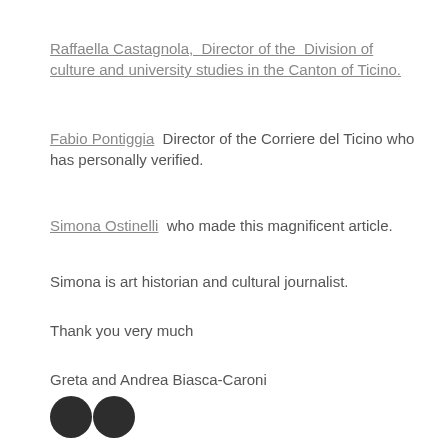Raffaella Castagnola,  Director of the  Division of culture and university studies in the Canton of Ticino.
Fabio Pontiggia  Director of the Corriere del Ticino who has personally verified.
Simona Ostinelli  who made this magnificent article.
Simona is art historian and cultural journalist.
Thank you very much
Greta and Andrea Biasca-Caroni
[Figure (other): Social media icons row at bottom of page — two circular dark icons visible]